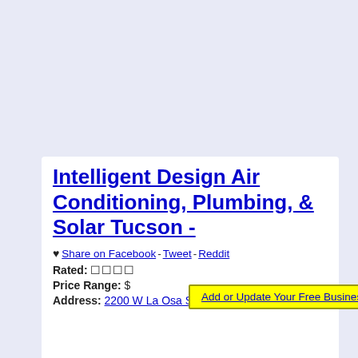Add or Update Your Free Business Listing
Intelligent Design Air Conditioning, Plumbing, & Solar Tucson -
♥ Share on Facebook - Tweet - Reddit
Rated: ☐☐☐☐
Price Range: $
Address: 2200 W La Osa St, Tucson, Arizona 85705